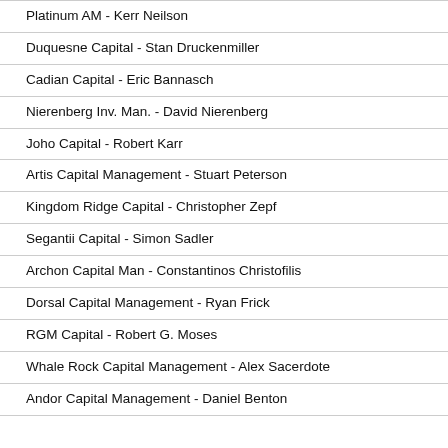Platinum AM - Kerr Neilson
Duquesne Capital - Stan Druckenmiller
Cadian Capital - Eric Bannasch
Nierenberg Inv. Man. - David Nierenberg
Joho Capital - Robert Karr
Artis Capital Management - Stuart Peterson
Kingdom Ridge Capital - Christopher Zepf
Segantii Capital - Simon Sadler
Archon Capital Man - Constantinos Christofilis
Dorsal Capital Management - Ryan Frick
RGM Capital - Robert G. Moses
Whale Rock Capital Management - Alex Sacerdote
Andor Capital Management - Daniel Benton